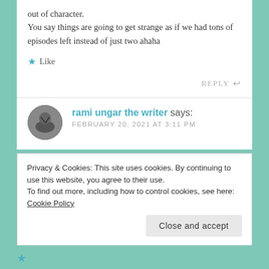out of character.
You say things are going to get strange as if we had tons of episodes left instead of just two ahaha
Like
REPLY
rami ungar the writer says:
FEBRUARY 20, 2021 AT 3:11 PM
Privacy & Cookies: This site uses cookies. By continuing to use this website, you agree to their use.
To find out more, including how to control cookies, see here: Cookie Policy
Close and accept